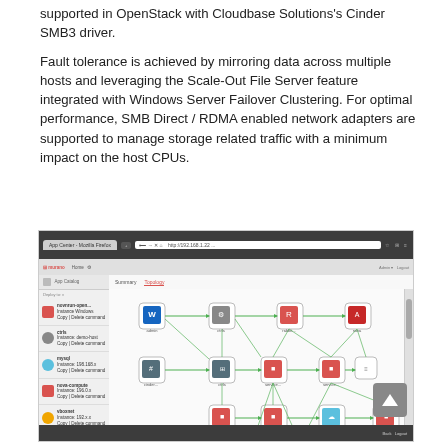supported in OpenStack with Cloudbase Solutions's Cinder SMB3 driver.
Fault tolerance is achieved by mirroring data across multiple hosts and leveraging the Scale-Out File Server feature integrated with Windows Server Failover Clustering. For optimal performance, SMB Direct / RDMA enabled network adapters are supported to manage storage related traffic with a minimum impact on the host CPUs.
[Figure (screenshot): Screenshot of a web browser showing an OpenStack or cloud management UI with a network topology diagram. The diagram shows interconnected nodes/services represented by icons with colored logos (red, blue, orange), connected by green lines/arrows forming a complex dependency graph. A left sidebar shows a list of services including nova, cinder, mysql, nova-compute, vboxnet, rabbitmq-server. The main canvas shows the service topology.]